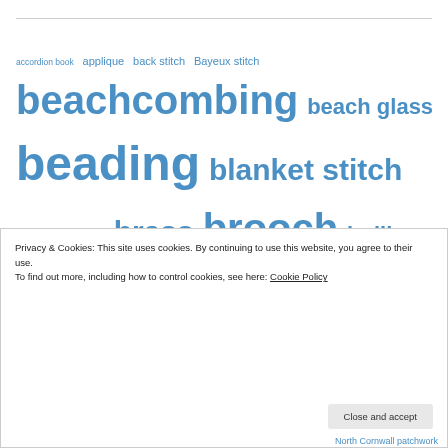accordion book applique back stitch Bayeux stitch beachcombing beach glass beading blanket stitch bluework bookbinding brass brooch bullion knots canvaswork chain stitch couching crazy patchwork cross stitch Embroiderers' Guild embroidery etsy etsy seller etsy shop experimenting eyelets feather stitch felt Felting finishing found objects fragments
Privacy & Cookies: This site uses cookies. By continuing to use this website, you agree to their use. To find out more, including how to control cookies, see here: Cookie Policy
North Cornwall patchwork